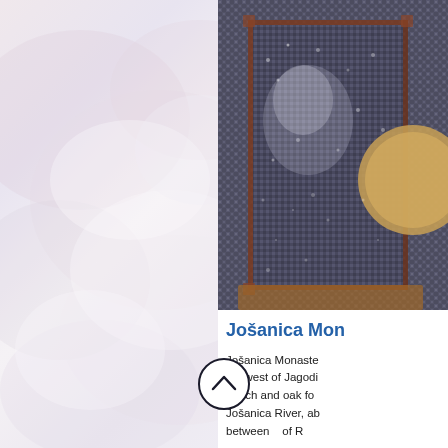[Figure (photo): Left/center faded background with whitish cloud and rock texture, pinkish-lavender tones]
[Figure (photo): Close-up mosaic icon image showing a figure against a dark speckled mosaic background with brown frame, gold circular element visible on right edge]
Jošanica Mon
Jošanica Monaste km west of Jagodi beech and oak fo Jošanica River, ab between of R
[Figure (other): Circular scroll-up button with upward chevron arrow, dark outline on white background]